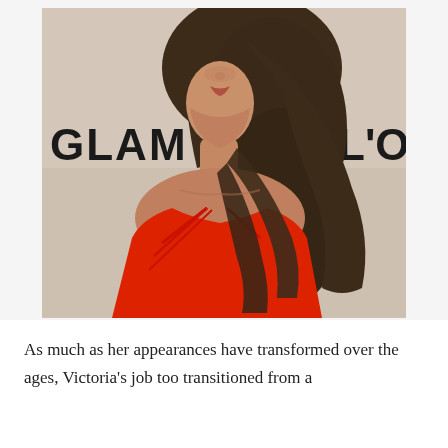[Figure (photo): A woman with long dark brown hair wearing a red strappy dress, photographed at what appears to be a Glamour and L'Oreal event. The background shows partial text reading 'GLAM' and 'L'O'. The photo shows her from approximately the waist up.]
As much as her appearances have transformed over the ages, Victoria's job too transitioned from a